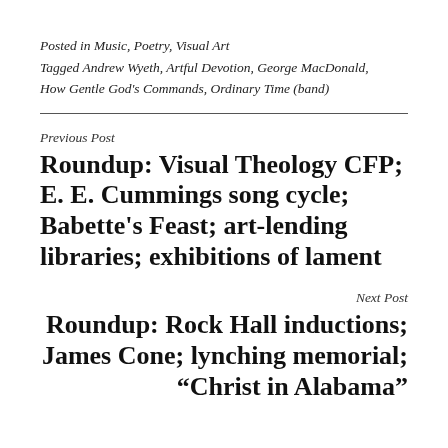Posted in Music, Poetry, Visual Art
Tagged Andrew Wyeth, Artful Devotion, George MacDonald, How Gentle God’s Commands, Ordinary Time (band)
Previous Post
Roundup: Visual Theology CFP; E. E. Cummings song cycle; Babette’s Feast; art-lending libraries; exhibitions of lament
Next Post
Roundup: Rock Hall inductions; James Cone; lynching memorial; “Christ in Alabama”